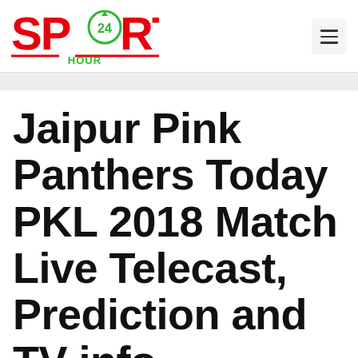Sports 24 Hour
Jaipur Pink Panthers Today PKL 2018 Match Live Telecast, Prediction and TV info